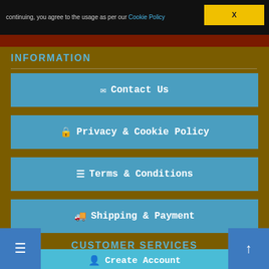continuing, you agree to the usage as per our Cookie Policy
INFORMATION
Contact Us
Privacy & Cookie Policy
Terms & Conditions
Shipping & Payment
CUSTOMER SERVICES
Create Account